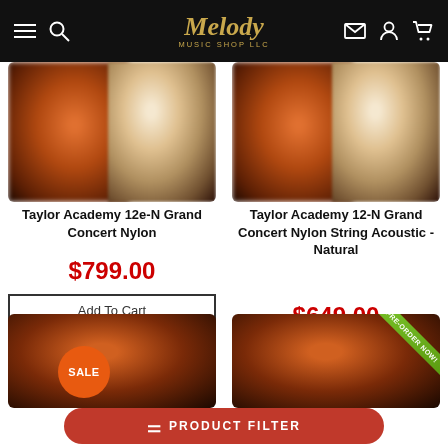Melody Music Shop LLC
[Figure (photo): Blurred product photo of Taylor Academy 12e-N Grand Concert Nylon guitar]
Taylor Academy 12e-N Grand Concert Nylon
$799.00
Add To Cart
[Figure (photo): Blurred product photo of Taylor Academy 12-N Grand Concert Nylon String Acoustic guitar]
Taylor Academy 12-N Grand Concert Nylon String Acoustic - Natural
$649.00
Add To Cart
[Figure (photo): Partial blurred product photo at bottom left with SALE badge]
[Figure (photo): Partial blurred product photo at bottom right with PRE-ORDER NOW ribbon]
PRODUCT FILTER